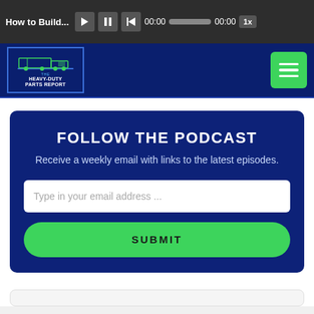How to Build... | 00:00 | 00:00 | 1x - Audio player controls
[Figure (logo): The Heavy-Duty Parts Report podcast logo with truck illustration in dark blue box]
FOLLOW THE PODCAST
Receive a weekly email with links to the latest episodes.
Type in your email address ...
SUBMIT